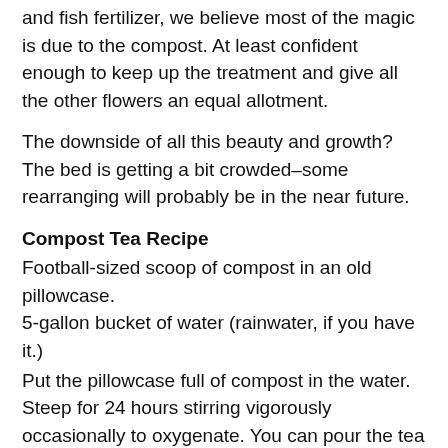and fish fertilizer, we believe most of the magic is due to the compost. At least confident enough to keep up the treatment and give all the other flowers an equal allotment.
The downside of all this beauty and growth? The bed is getting a bit crowded–some rearranging will probably be in the near future.
Compost Tea Recipe
Football-sized scoop of compost in an old pillowcase.
5-gallon bucket of water (rainwater, if you have it.)
Put the pillowcase full of compost in the water. Steep for 24 hours stirring vigorously occasionally to oxygenate. You can pour the tea back and forth into another bucket to add O2 as well. (The organisms in the tea can use up all the oxygen and it will get stinky in addition to not being good for your plants.)